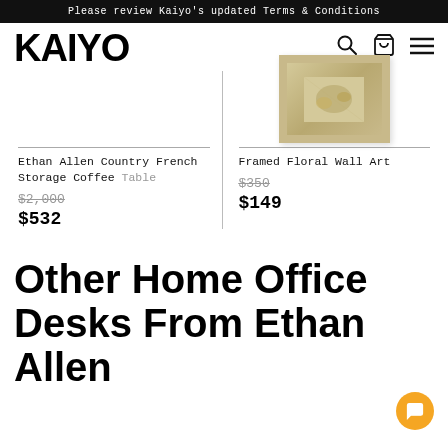Please review Kaiyo's updated Terms & Conditions
[Figure (logo): KAIYO logo in bold black sans-serif font]
Ethan Allen Country French Storage Coffee Table
$2,000
$532
[Figure (photo): Framed floral wall art in ornate gold/beige frame]
Framed Floral Wall Art
$350
$149
Other Home Office Desks From Ethan Allen